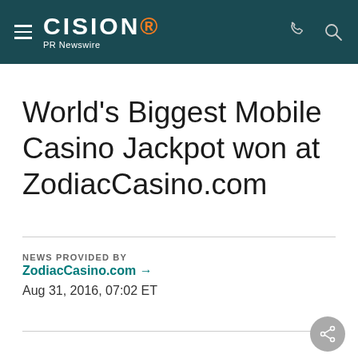CISION PR Newswire
World's Biggest Mobile Casino Jackpot won at ZodiacCasino.com
NEWS PROVIDED BY
ZodiacCasino.com →
Aug 31, 2016, 07:02 ET